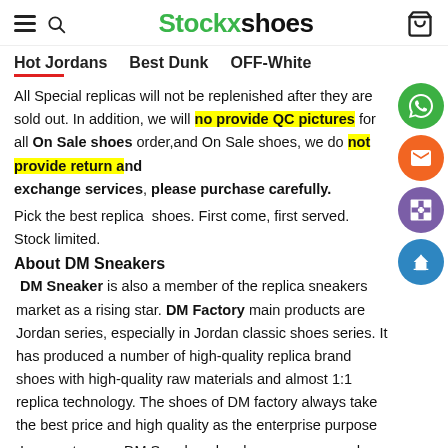Stockxshoes
Hot Jordans   Best Dunk   OFF-White
All Special replicas will not be replenished after they are sold out. In addition, we will no provide QC pictures for all On Sale shoes order,and On Sale shoes, we do not provide return and exchange services, please purchase carefully.
Pick the best replica  shoes. First come, first served. Stock limited.
About DM Sneakers
DM Sneaker is also a member of the replica sneakers market as a rising star. DM Factory main products are Jordan series, especially in Jordan classic shoes series. It has produced a number of high-quality replica brand shoes with high-quality raw materials and almost 1:1 replica technology. The shoes of DM factory always take the best price and high quality as the enterprise purpose
In recent years, DM Sneakers has become more and more powerful.